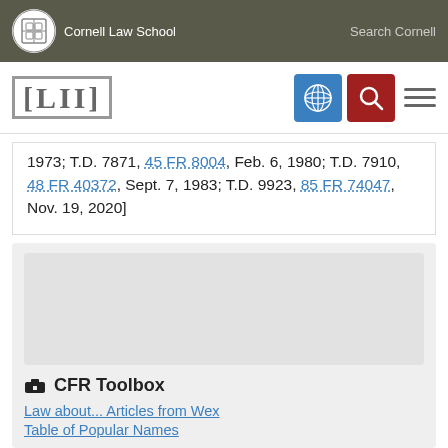Cornell Law School | Search Cornell
[Figure (logo): LII Legal Information Institute logo with navigation buttons]
1973; T.D. 7871, 45 FR 8004, Feb. 6, 1980; T.D. 7910, 48 FR 40372, Sept. 7, 1983; T.D. 9923, 85 FR 74047, Nov. 19, 2020]
CFR Toolbox
Law about... Articles from Wex
Table of Popular Names